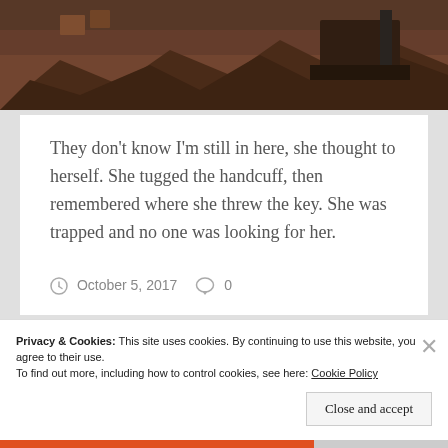[Figure (photo): Demolition scene showing a collapsed brick building with rubble and construction machinery in the background]
They don't know I'm still in here, she thought to herself. She tugged the handcuff, then remembered where she threw the key. She was trapped and no one was looking for her.
October 5, 2017   0
Privacy & Cookies: This site uses cookies. By continuing to use this website, you agree to their use.
To find out more, including how to control cookies, see here: Cookie Policy
Close and accept